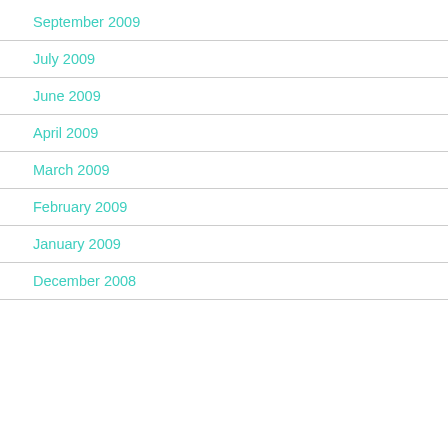September 2009
July 2009
June 2009
April 2009
March 2009
February 2009
January 2009
December 2008